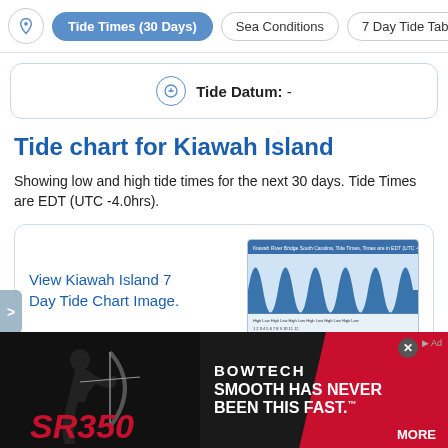Tide Times (30 Days) | Sea Conditions | 7 Day Tide Tab
Tide Datum: -
Tide chart for Kiawah Island
Showing low and high tide times for the next 30 days. Tide Times are EDT (UTC -4.0hrs).
View Kiawah Island 7 Day Tide Chart Image.
[Figure (screenshot): Thumbnail of Kiawah Island 7 Day Tide Chart showing wave pattern bars]
Old Tide Chart  New 30 Day Tide Chart
[Figure (photo): Bowtech SR350 bow advertisement: SMOOTH HAS NEVER BEEN THIS FAST. with MORE button]